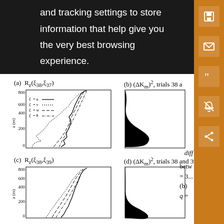and tracking settings to store information that help give you the very best browsing experience.
cor
R_z(
(a) R_z(ξ_38, ξ_37)
[Figure (continuous-plot): Vertical profile plot showing R_z correlation for trials 38 vs 37, with four line types: u (solid), v (dotted), w (dashed), θ (dash-dot). z axis from 0 to 800 m. Lines show various correlation profiles with height.]
(b) (ΔK_m)², trials 38 a...
[Figure (continuous-plot): Vertical profile of (ΔK_m)² for trials 38 and (next number). Shows a peaked distribution around z=200m with maximum near 0.8 and tapering to zero at top and bottom.]
(c) R_z(ξ_38, ξ_39)
[Figure (continuous-plot): Vertical profile plot showing R_z correlation for trials 38 vs 39, with four line types similar to panel (a). z axis from 0 to 800 m.]
(d) (ΔK_m)², trials 38 and 39
[Figure (continuous-plot): Vertical profile of (ΔK_m)² for trials 38 and 39. Shows a sharp peak at low z values tapering upward.]
diff
betw
= 3...
(b)
q =